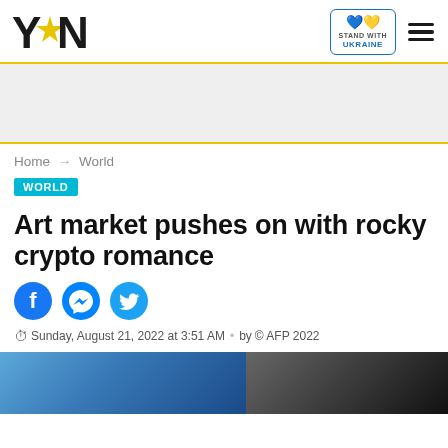YEN — STAND WITH UKRAINE
Home → World
WORLD
Art market pushes on with rocky crypto romance
Sunday, August 21, 2022 at 3:51 AM • by © AFP 2022
[Figure (photo): Article header image showing artwork or art market scene]